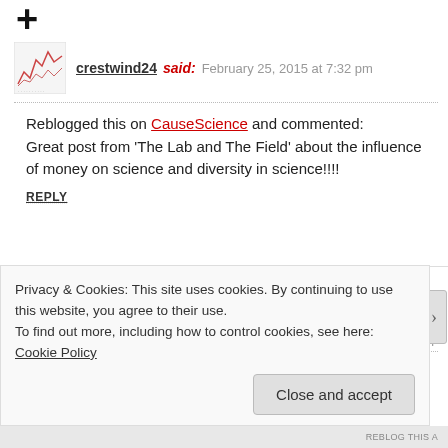[Figure (other): Large bold T letter icon at top left]
crestwind24 said: February 25, 2015 at 7:32 pm
Reblogged this on CauseScience and commented:
Great post from ‘The Lab and The Field’ about the influence of money on science and diversity in science!!!!
REPLY
Tea 'n' Mango Juice said: February 25, 2015 at 8:21 pm
This.
Privacy & Cookies: This site uses cookies. By continuing to use this website, you agree to their use.
To find out more, including how to control cookies, see here: Cookie Policy
Close and accept